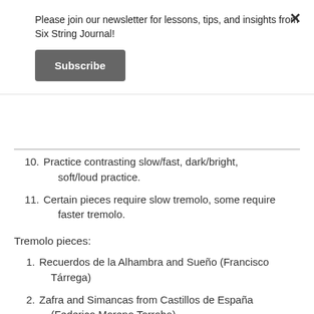Please join our newsletter for lessons, tips, and insights from Six String Journal!
Subscribe
10. Practice contrasting slow/fast, dark/bright, soft/loud practice.
11. Certain pieces require slow tremolo, some require faster tremolo.
Tremolo pieces:
1. Recuerdos de la Alhambra and Sueño (Francisco Tárrega)
2. Zafra and Simancas from Castillos de España (Federico Moreno Torroba)